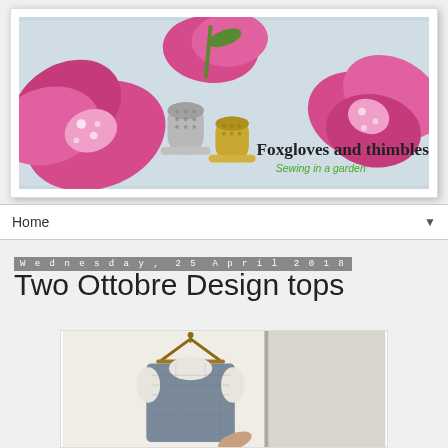[Figure (photo): Blog header banner showing pink foxglove flowers and silver thimbles on a light background, with text 'Foxgloves and thimbles' and 'Sewing in a garden' overlaid on the right side.]
Home ▼
Wednesday, 25 April 2018
Two Ottobre Design tops
[Figure (photo): Photo of a sleeveless grey tweed/woven top hanging on a wooden hanger against a white wall and door.]